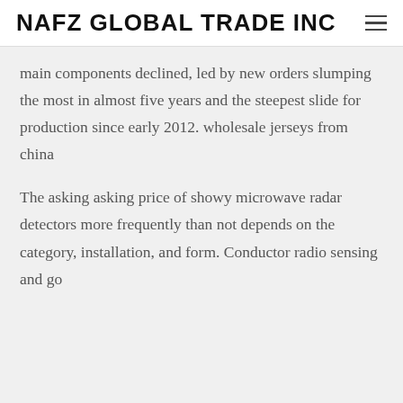NAFZ GLOBAL TRADE INC
main components declined, led by new orders slumping the most in almost five years and the steepest slide for production since early 2012. wholesale jerseys from china
The asking asking price of showy microwave radar detectors more frequently than not depends on the category, installation, and form. Conductor radio sensing and go